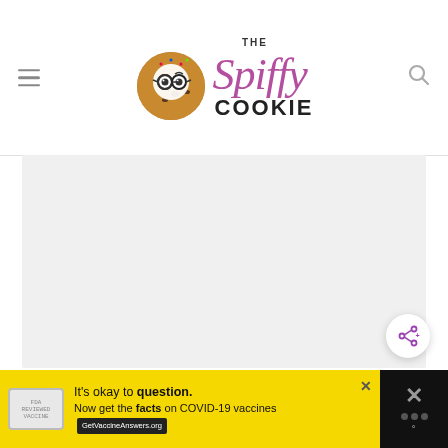The Spiffy Cookie - website header with logo, hamburger menu, and search icon
[Figure (photo): Large light gray placeholder image area occupying the main content section below the header]
[Figure (logo): Share button icon (circular button with share symbol) in lower right of image area]
[Figure (infographic): Yellow advertisement bar at bottom: 'It's okay to question. Now get the facts on COVID-19 vaccines' with GetVaccineAnswers.org button, vaccine badge image, and X close button. Right side has black panel with X close and weather dots.]